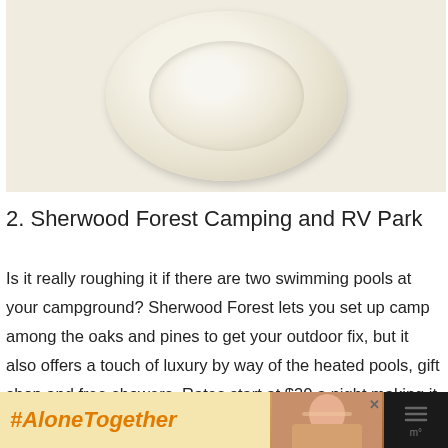[Figure (photo): Close-up photo of a round white dough/biscuit on parchment paper, showing a circular outer ring and smooth inner circle.]
2. Sherwood Forest Camping and RV Park
Is it really roughing it if there are two swimming pools at your campground? Sherwood Forest lets you set up camp among the oaks and pines to get your outdoor fix, but it also offers a touch of luxury by way of the heated pools, gift shop and free showers. Rates start at $30 a night making it the most economical choice compared with motels and resorts. If you haven't traveled with your
[Figure (advertisement): Ad banner at bottom: black background on sides, yellow center panel with '#AloneTogether' text in orange italic bold, photo of woman in kitchen, and close/menu icons.]